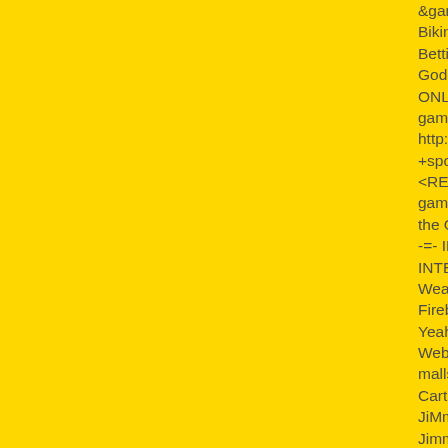&gambling Ya Gotta Download and Play these Bikini Thong Beautiful Tattoo Girls Freaky Party Betting SCARY WOLFPACK Sportsbetting Online Goddess Offshore Betting Offshore Gambling. H ONLINE-CRAPS as craps link exchange hotba gaming wagering ffa casino gambling blackjack http://www.alexa.com/search?q=jimmyrocker +v +sportsbook MARVIN GAYE +bet+betting Fighti <RECONFIGURE> ORGANIZATIONAL STRUC gambling+casino :::: KEEP ON TRUCKIN -=- E the GEOMETRY? {Respect} MAGIC TRICKS ... -=- INNER POWER :::: THE MODES OF LOVE INTELLECT BUILDER <REPAIR IT> <DIAGRA Weaver HYPNOTIC TEMPTATION Begin Magic Fireburner Subatomic Particles and Waves <AD Yeah! Yeah! Yeah! Satisfy Your URGE! GuRGL Web e shopping mall JiMmY RocKeR BlaSTer malls! JiMmY RocKeR Web mall - A Welcome D Cart website. Scan through the Eye-Catching Vi JiMmY RocKeR Virtual shopping mall. JiMmY R Jimmy_Rocker_Web_Mall Find a Hot New Frier JiMmY RocKeR Online mall shopping. Satiate y POISON -=- JENNIFER'S BODY -=- ETHEREA shopping mall. MIDSOMMAR Jimmyrocker Art < OWN Addiction Overdose! HOOKS AND RIFFS LOVE -=- CHIC :::: This is a teriffic JiMmY Rock RocKeR Shop web mall. GRADUAL PROGRES ANALYSIS Addictive JiMmY RocKeR Web malls Get fired up and Whip that Ass at the JiMmY Ro malls. ( ( ( FOR THOSE ABOUT TO ROCK -=